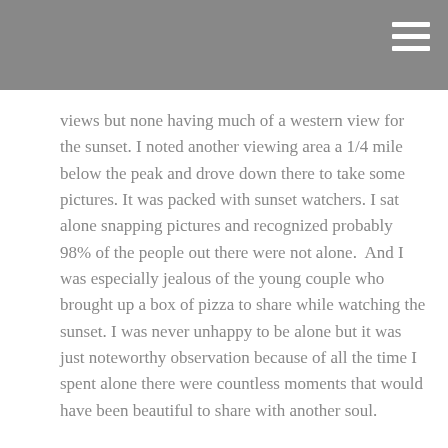views but none having much of a western view for the sunset. I noted another viewing area a 1/4 mile below the peak and drove down there to take some pictures. It was packed with sunset watchers. I sat alone snapping pictures and recognized probably 98% of the people out there were not alone.  And I was especially jealous of the young couple who brought up a box of pizza to share while watching the sunset. I was never unhappy to be alone but it was just noteworthy observation because of all the time I spent alone there were countless moments that would have been beautiful to share with another soul.